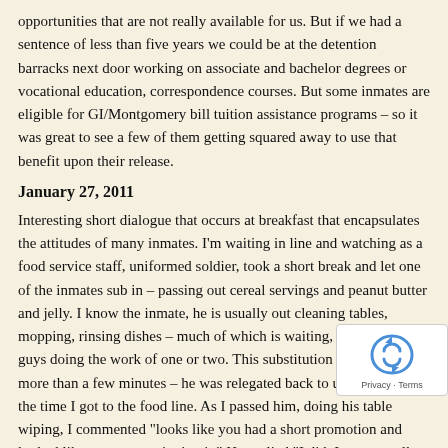opportunities that are not really available for us. But if we had a sentence of less than five years we could be at the detention barracks next door working on associate and bachelor degrees or vocational education, correspondence courses. But some inmates are eligible for GI/Montgomery bill tuition assistance programs – so it was great to see a few of them getting squared away to use that benefit upon their release.
January 27, 2011
Interesting short dialogue that occurs at breakfast that encapsulates the attitudes of many inmates. I'm waiting in line and watching as a food service staff, uniformed soldier, took a short break and let one of the inmates sub in – passing out cereal servings and peanut butter and jelly. I know the inmate, he is usually out cleaning tables, mopping, rinsing dishes – much of which is waiting, four to five guys doing the work of one or two. This substitution did not last more than a few minutes – he was relegated back to usual duties by the time I got to the food line. As I passed him, doing his table wiping, I commented "looks like you had a short promotion and looked like you were enjoying it." He replied "I did. I was actually enjoying doing something that felt productive for a few minutes." Just another sad vignette: take away incentives, responsibilities and self improvement possibilities (set a low bar of achievement) and people will not be happy achieving these low standards. Especially a population like this, Americans, most of which were well soldiers – trained to exceed – now being held to a low standard.
Incredible letters keep coming that are so kind and uplift my spirit. On today's letters stating – "the will of God never takes you where the grace of